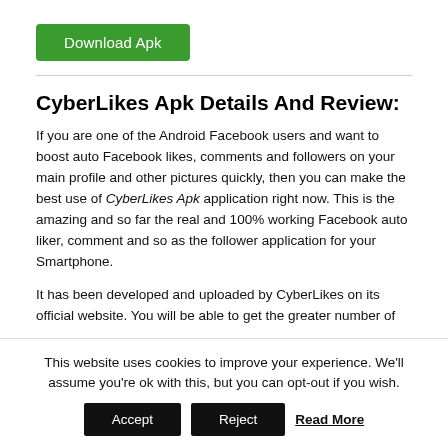[Figure (other): Green 'Download Apk' button]
CyberLikes Apk Details And Review:
If you are one of the Android Facebook users and want to boost auto Facebook likes, comments and followers on your main profile and other pictures quickly, then you can make the best use of CyberLikes Apk application right now. This is the amazing and so far the real and 100% working Facebook auto liker, comment and so as the follower application for your Smartphone.
It has been developed and uploaded by CyberLikes on its official website. You will be able to get the greater number of
This website uses cookies to improve your experience. We'll assume you're ok with this, but you can opt-out if you wish.
Accept   Reject   Read More